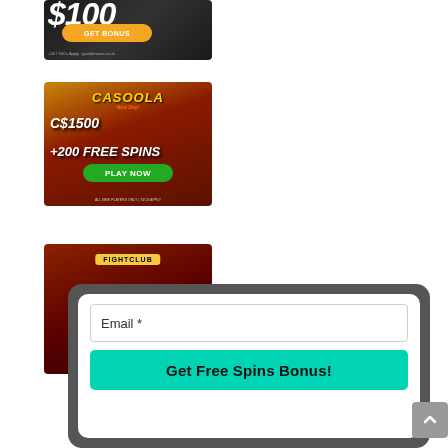[Figure (screenshot): Casino advertisement banner showing '$100 GET BONUS' with a lion, dark background. Partial view at top.]
[Figure (screenshot): Casoola casino advertisement banner: 'C$1500 + 200 FREE SPINS' with PLAY NOW button, colorful game-themed background.]
[Figure (screenshot): FightClub casino advertisement banner with warrior character, yellow FightClub logo badge, 'WELCOME PACK:' text. Partial view.]
[Figure (screenshot): Email signup modal overlay with 'Email *' input field and 'Get Free Spins Bonus!' teal button on dark gray rounded background.]